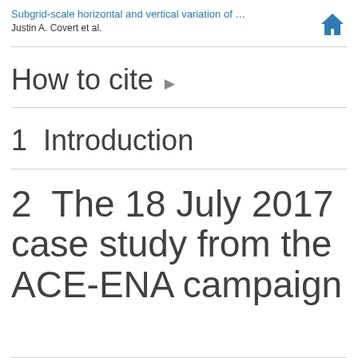Subgrid-scale horizontal and vertical variation of …
Justin A. Covert et al.
How to cite ▶
1  Introduction
2  The 18 July 2017 case study from the ACE-ENA campaign